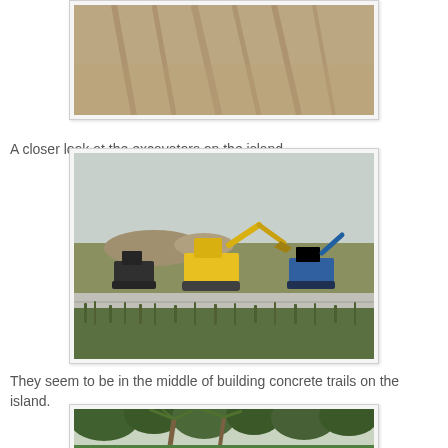[Figure (photo): Aerial or ground-level view of sand/dirt with tire tracks or furrows, partially cropped at top of page.]
A closer look at the excavators on the island.
[Figure (photo): Construction site photo showing two excavators (one yellow, one blue-green) on a grassy field with concrete slabs being laid and mounds of earth/gravel in the background.]
They seem to be in the middle of building concrete trails on the island.
[Figure (photo): Dense green tropical trees including palm trees, partially cropped at bottom of page.]